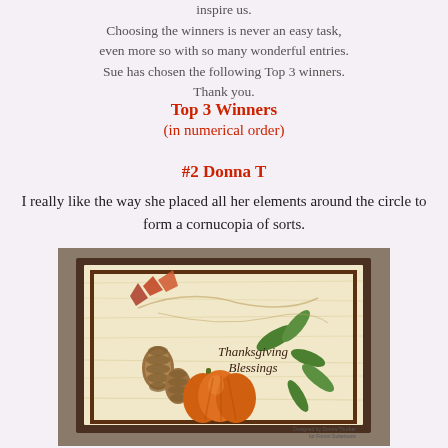inspire us.
Choosing the winners is never an easy task, even more so with so many wonderful entries. Sue has chosen the following Top 3 winners. Thank you.
Top 3 Winners
(in numerical order)
#2 Donna T
I really like the way she placed all her elements around the circle to form a cornucopia of sorts.
[Figure (photo): A handmade Thanksgiving greeting card with a pumpkin, pinecones, leaves, and greenery arranged in a circular/wreath formation around the text 'Thanksgiving Blessings'. The card has a wood-grain background with a brown mat border. A small credit reads 'Designed by Donna Thurber for Forum Suttersons'.]